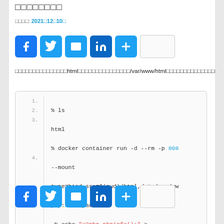□□□□□□□□
□□□□: 2021□12□10□
[Figure (infographic): Social share buttons: Facebook, Twitter, Email, LinkedIn, Plus, and an empty share box]
□□□□□□□□□□□□□□□html□□□□□□□□□□□□□□□/var/www/html□□□□□□□□□□□□□□□□□□□□□□□
1. % ls
2. html
3. % docker container run -d --rm -p 808 --mount type=bind,src=$(pwd)/html,dst=/var/www php:5.4-apache
4.  % echo "<?php phpinfo();" > $(pwd)/html/index.php
[Figure (infographic): Social share buttons: Facebook, Twitter, Email, LinkedIn, Plus, and an empty share box]